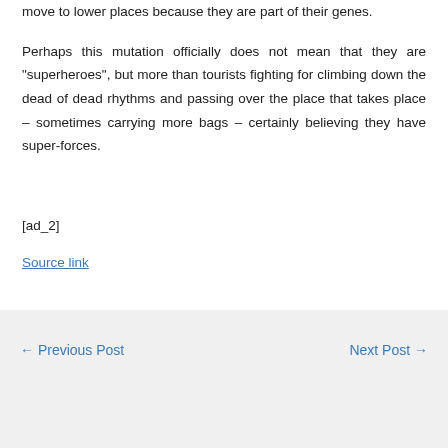move to lower places because they are part of their genes.
Perhaps this mutation officially does not mean that they are "superheroes", but more than tourists fighting for climbing down the dead of dead rhythms and passing over the place that takes place – sometimes carrying more bags – certainly believing they have super-forces.
[ad_2]
Source link
← Previous Post   Next Post →